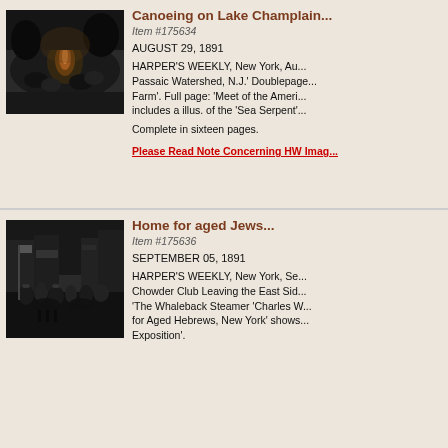[Figure (photo): Black and white illustration of people canoeing or gathered around a campfire near a lake, dramatic night scene.]
Canoeing on Lake Champlain...
Item #175634
AUGUST 29, 1891
HARPER'S WEEKLY, New York, Au... Passaic Watershed, N.J.' Doublepage... Farm'. Full page: 'Meet of the Ameri... includes a illus. of the 'Sea Serpent'...
Complete in sixteen pages.
Please Read Note Concerning HW Imag...
[Figure (photo): Black and white illustration of a crowd scene on a city street with people on horseback, buildings in background.]
Home for aged Jews...
Item #175636
SEPTEMBER 05, 1891
HARPER'S WEEKLY, New York, Se... Chowder Club Leaving the East Sid... 'The Whaleback Steamer 'Charles W... for Aged Hebrews, New York' shows... Exposition'.